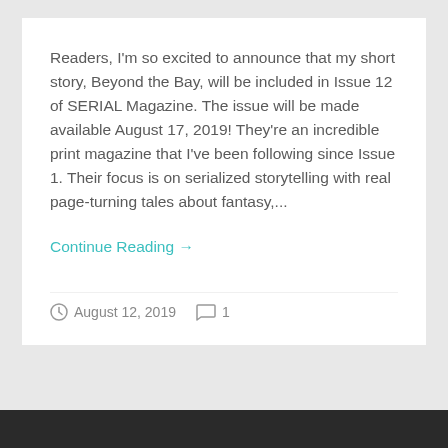Readers, I'm so excited to announce that my short story, Beyond the Bay, will be included in Issue 12 of SERIAL Magazine. The issue will be made available August 17, 2019! They're an incredible print magazine that I've been following since Issue 1. Their focus is on serialized storytelling with real page-turning tales about fantasy,...
Continue Reading →
August 12, 2019  1